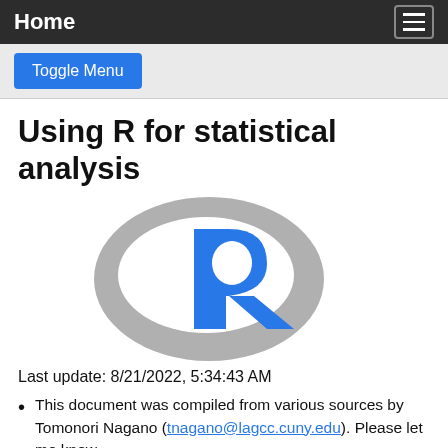Home
Toggle Menu
Using R for statistical analysis
[Figure (logo): R programming language logo: a grey ellipse ring with a blue stylized letter R in the foreground]
Last update: 8/21/2022, 5:34:43 AM
This document was compiled from various sources by Tomonori Nagano (tnagano@lagcc.cuny.edu). Please let me know